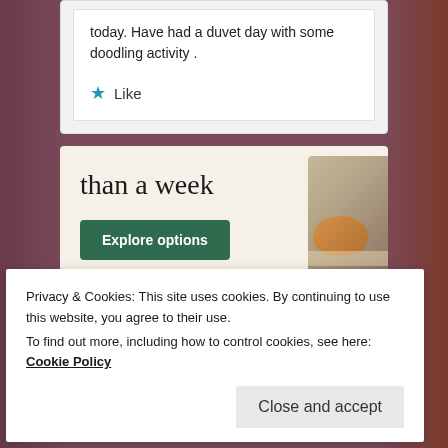today. Have had a duvet day with some doodling activity .
★ Like
[Figure (screenshot): Advertisement banner with text 'than a week', a green 'Explore options' button, and app/website mockup images on the right side against a beige background.]
Privacy & Cookies: This site uses cookies. By continuing to use this website, you agree to their use.
To find out more, including how to control cookies, see here: Cookie Policy
Close and accept